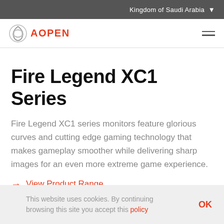Kingdom of Saudi Arabia
[Figure (logo): AOPEN logo with circular grey icon and red AOPEN text]
Fire Legend XC1 Series
Fire Legend XC1 series monitors feature glorious curves and cutting edge gaming technology that makes gameplay smoother while delivering sharp images for an even more extreme game experience.
→ View Product Range
This website uses cookies. By continuing browsing this site you accept this policy OK